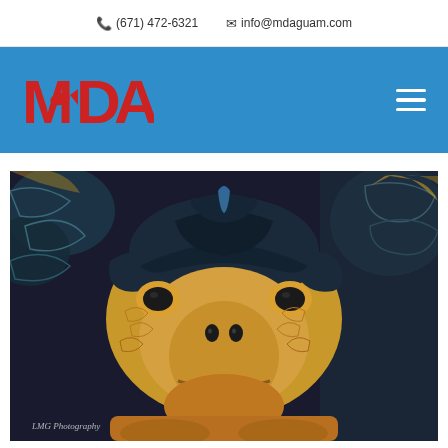(671) 472-6321   info@mdaguam.com
[Figure (logo): MDA Guam logo in red block letters with fish icon on blue navigation bar]
[Figure (photo): Close-up photograph of a sea turtle face, front-facing, with dark blue/black and tan/yellow patterned shell and skin. Watermark reads 'LMG Photography' in bottom left corner.]